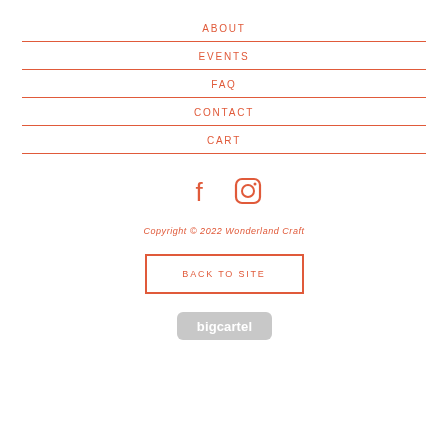ABOUT
EVENTS
FAQ
CONTACT
CART
[Figure (illustration): Facebook and Instagram social media icons in coral/red-orange color]
Copyright © 2022 Wonderland Craft
BACK TO SITE
[Figure (logo): Big Cartel logo badge in light gray rounded rectangle]